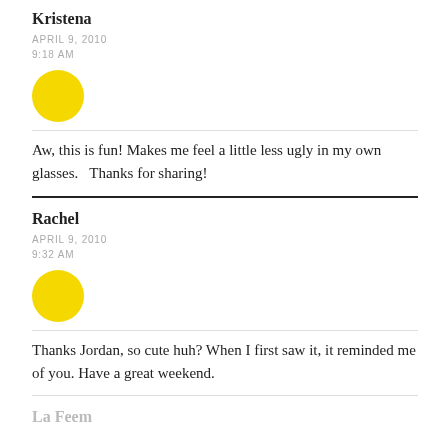Kristena
APRIL 9, 2010
9:18 AM
[Figure (illustration): Yellow circle avatar]
Aw, this is fun! Makes me feel a little less ugly in my own glasses.   Thanks for sharing!
Rachel
APRIL 9, 2010
9:32 AM
[Figure (illustration): Yellow circle avatar]
Thanks Jordan, so cute huh? When I first saw it, it reminded me of you. Have a great weekend.
La Feem